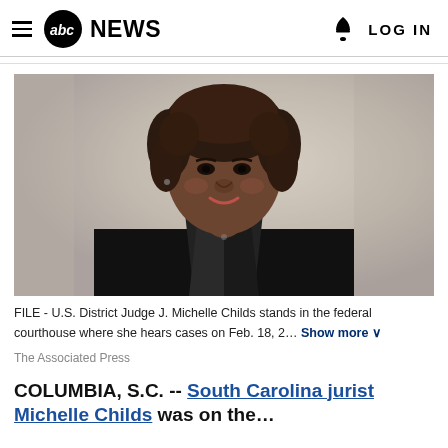abc NEWS  LOG IN
[Figure (photo): Portrait photo of U.S. District Judge J. Michelle Childs in judicial robes, smiling, in a federal courthouse setting]
FILE - U.S. District Judge J. Michelle Childs stands in the federal courthouse where she hears cases on Feb. 18, 2... Show more
The Associated Press
COLUMBIA, S.C. -- South Carolina jurist Michelle Childs was on the...